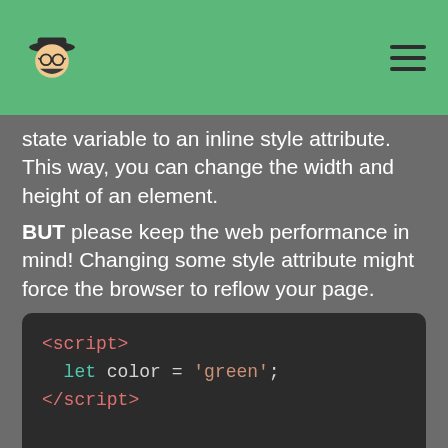Logo and navigation header
state variable to an inline style attribute. This way, you can change the width and height of an element.
BUT please keep the web performance in mind! Changing some style attribute might force the browser to reflow your page.
[Figure (screenshot): Code block showing Svelte script and style tags with: let color = 'green'; and input { display: block; }]